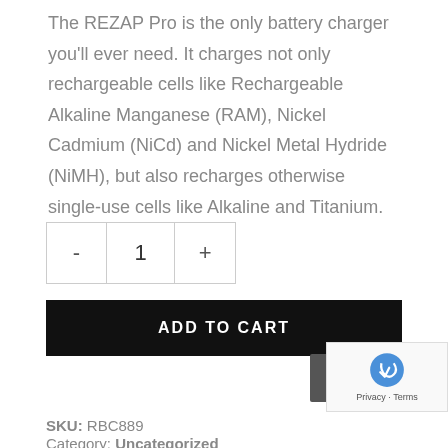The REZAP Pro is the only battery charger you'll ever need. It charges not only rechargeable cells like Rechargeable Alkaline Manganese (RAM), Nickel Cadmium (NiCd) and Nickel Metal Hydride (NiMH), but also recharges otherwise single-use cells like Alkaline and Titanium.
- 1 +
ADD TO CART
SKU: RBC889
Category: Uncategorized